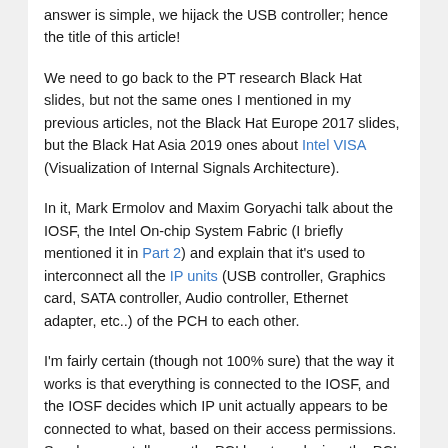answer is simple, we hijack the USB controller; hence the title of this article!
We need to go back to the PT research Black Hat slides, but not the same ones I mentioned in my previous articles, not the Black Hat Europe 2017 slides, but the Black Hat Asia 2019 ones about Intel VISA (Visualization of Internal Signals Architecture).
In it, Mark Ermolov and Maxim Goryachi talk about the IOSF, the Intel On-chip System Fabric (I briefly mentioned it in Part 2) and explain that it's used to interconnect all the IP units (USB controller, Graphics card, SATA controller, Audio controller, Ethernet adapter, etc..) of the PCH to each other.
I'm fairly certain (though not 100% sure) that the way it works is that everything is connected to the IOSF, and the IOSF decides which IP unit actually appears to be connected to what, based on their access permissions. So when you talk over the PCI bus to a device, the PCI